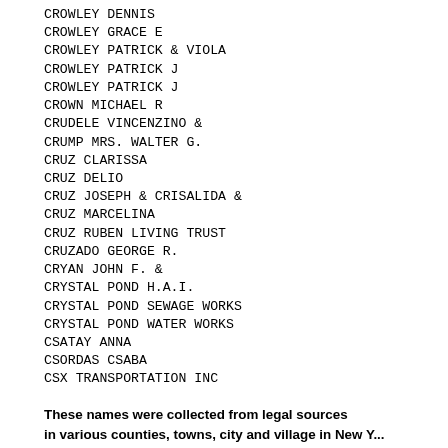CROWLEY DENNIS
CROWLEY GRACE E
CROWLEY PATRICK & VIOLA
CROWLEY PATRICK J
CROWLEY PATRICK J
CROWN MICHAEL R
CRUDELE VINCENZINO &
CRUMP MRS. WALTER G.
CRUZ CLARISSA
CRUZ DELIO
CRUZ JOSEPH & CRISALIDA &
CRUZ MARCELINA
CRUZ RUBEN LIVING TRUST
CRUZADO GEORGE R.
CRYAN JOHN F. &
CRYSTAL POND H.A.I.
CRYSTAL POND SEWAGE WORKS
CRYSTAL POND WATER WORKS
CSATAY ANNA
CSORDAS CSABA
CSX TRANSPORTATION INC
These names were collected from legal sources in various counties, towns, city and village in New Y...